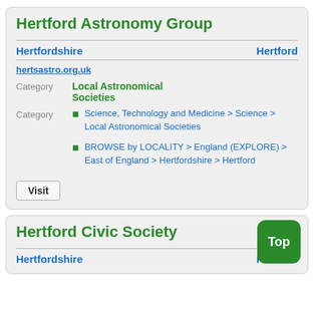Hertford Astronomy Group
Hertfordshire    Hertford
hertsastro.org.uk
Category: Local Astronomical Societies
Science, Technology and Medicine > Science > Local Astronomical Societies
BROWSE by LOCALITY > England (EXPLORE) > East of England > Hertfordshire > Hertford
Visit
Hertford Civic Society
Hertfordshire    Hertford